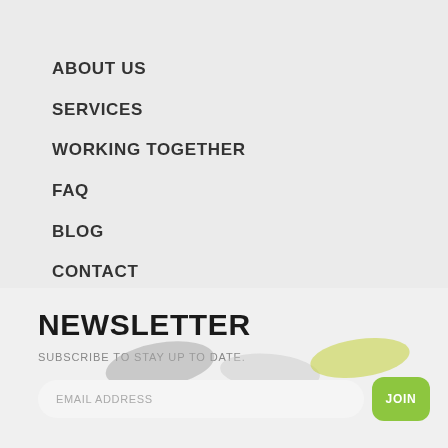ABOUT US
SERVICES
WORKING TOGETHER
FAQ
BLOG
CONTACT
ACCOUNT PERFORMANCE LOGIN
RETIREMENT PLAN LOGIN
NEWSLETTER
SUBSCRIBE TO STAY UP TO DATE.
EMAIL ADDRESS
JOIN